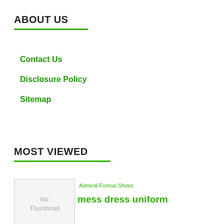ABOUT US
Contact Us
Disclosure Policy
Sitemap
MOST VIEWED
[Figure (illustration): No Thumbnail placeholder image box]
Admiral Formal Shoes
mess dress uniform